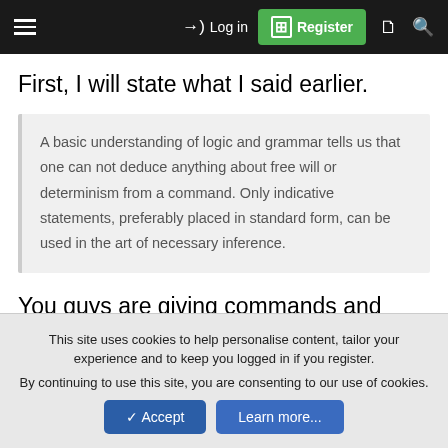≡  →) Log in  [+] Register  🗋  🔍
First, I will state what I said earlier.
A basic understanding of logic and grammar tells us that one can not deduce anything about free will or determinism from a command. Only indicative statements, preferably placed in standard form, can be used in the art of necessary inference.
You guys are giving commands and claiming that they imply "free will."
This site uses cookies to help personalise content, tailor your experience and to keep you logged in if you register.
By continuing to use this site, you are consenting to our use of cookies.